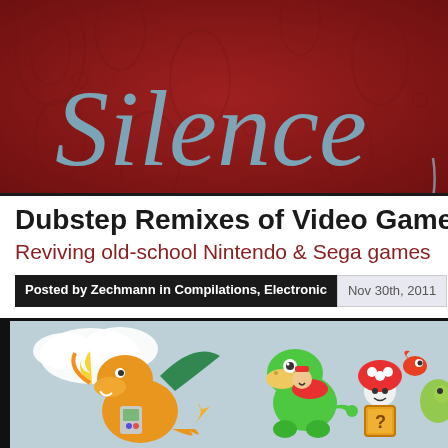[Figure (illustration): Blog website header banner with dark red/maroon background with subtle paisley pattern, featuring 'Silence' in large light blue cursive script text]
Dubstep Remixes of Video Game
Reviving old-school Nintendo & Sega games
Posted by Zechmann in Compilations, Electronic    Nov 30th, 2011
[Figure (illustration): Cartoon illustration of Nintendo/Sega video game characters including Charizard, Yoshi, Mario characters, Toad, and a question mark block]